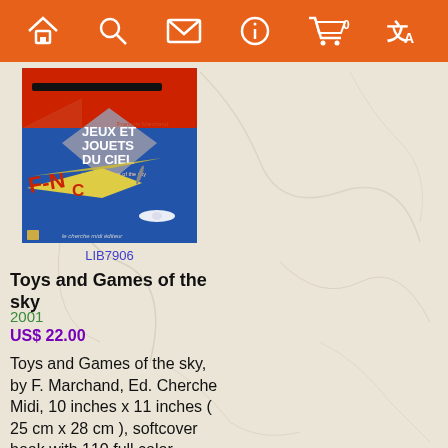[Figure (screenshot): Orange navigation bar with home, search, mail, info, cart (0), and translate icons in white on orange background]
[Figure (photo): Book cover of 'Jeux et Jouets du Ciel' (Toys and Games of the Sky) by Francois Marchand, published by Le Cherche Midi Editeur. Blue cover with vintage toy airplanes including a red plane at top and yellow seaplane with 'FNAC' text in foreground.]
LIB7906
Toys and Games of the sky
2001
US$ 22.00
Toys and Games of the sky, by F. Marchand, Ed. Cherche Midi, 10 inches x 11 inches ( 25 cm x 28 cm ), softcover book with 110 full color pages